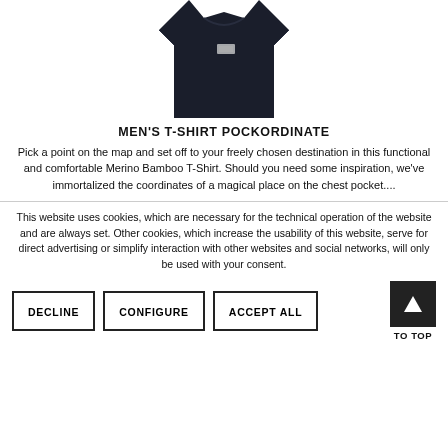[Figure (photo): Dark navy men's t-shirt with small chest pocket label, cropped showing torso area only]
MEN'S T-SHIRT POCKORDINATE
Pick a point on the map and set off to your freely chosen destination in this functional and comfortable Merino Bamboo T-Shirt. Should you need some inspiration, we've immortalized the coordinates of a magical place on the chest pocket....
This website uses cookies, which are necessary for the technical operation of the website and are always set. Other cookies, which increase the usability of this website, serve for direct advertising or simplify interaction with other websites and social networks, will only be used with your consent.
DECLINE
CONFIGURE
ACCEPT ALL
TO TOP